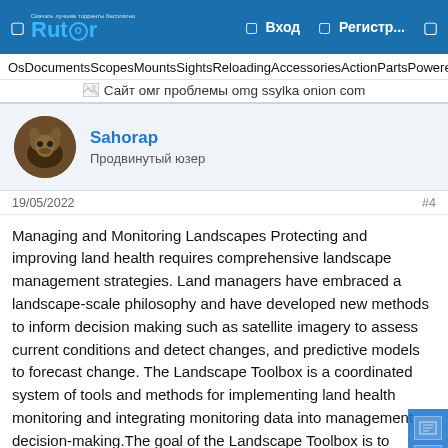Rutor | Вход | Регистр...
OsDocumentsScopesMountsSightsReloadingAccessoriesActionPartsPoweredbyWordPressSupport
[Figure (illustration): Broken image placeholder with text: Сайт омг проблемы omg ssylka onion com]
Sahorap
Продвинутый юзер
19/05/2022
#4
Managing and Monitoring Landscapes Protecting and improving land health requires comprehensive landscape management strategies. Land managers have embraced a landscape-scale philosophy and have developed new methods to inform decision making such as satellite imagery to assess current conditions and detect changes, and predictive models to forecast change. The Landscape Toolbox is a coordinated system of tools and methods for implementing land health monitoring and integrating monitoring data into management decision-making.The goal of the Landscape Toolbox is to provide the tools, resources, and